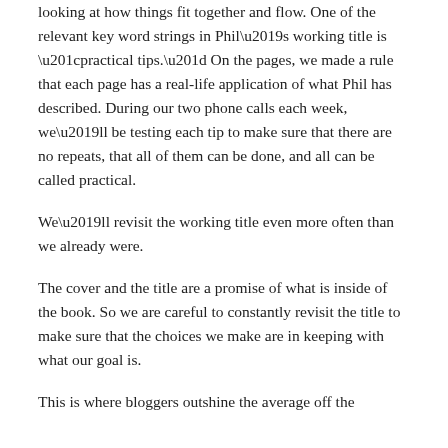looking at how things fit together and flow. One of the relevant key word strings in Phil’s working title is “practical tips.” On the pages, we made a rule that each page has a real-life application of what Phil has described. During our two phone calls each week, we’ll be testing each tip to make sure that there are no repeats, that all of them can be done, and all can be called practical.
We’ll revisit the working title even more often than we already were.
The cover and the title are a promise of what is inside of the book. So we are careful to constantly revisit the title to make sure that the choices we make are in keeping with what our goal is.
This is where bloggers outshine the average off the